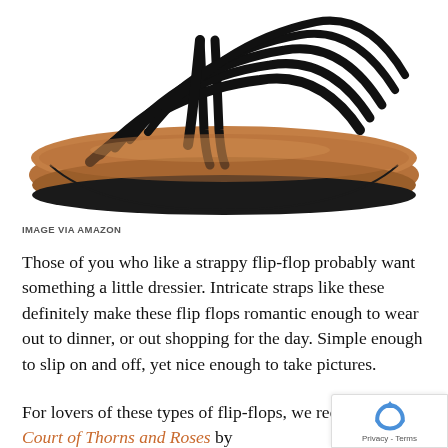[Figure (photo): A strappy black flip-flop sandal with multiple thin black straps over a tan/brown sole with black rubber outsole, photographed on white background.]
IMAGE VIA AMAZON
Those of you who like a strappy flip-flop probably want something a little dressier. Intricate straps like these definitely make these flip flops romantic enough to wear out to dinner, or out shopping for the day. Simple enough to slip on and off, yet nice enough to take pictures.
For lovers of these types of flip-flops, we recommend A Court of Thorns and Roses by